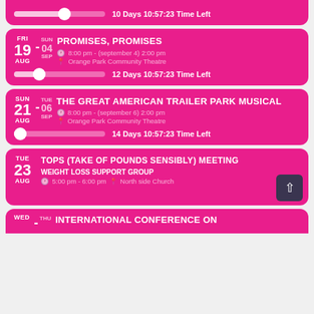10 Days 10:57:23 Time Left
PROMISES, PROMISES — FRI 19 AUG - SUN 04 SEP — 8:00 pm - (september 4) 2:00 pm — Orange Park Community Theatre — 12 Days 10:57:23 Time Left
THE GREAT AMERICAN TRAILER PARK MUSICAL — SUN 21 AUG - TUE 06 SEP — 8:00 pm - (september 6) 2:00 pm — Orange Park Community Theatre — 14 Days 10:57:23 Time Left
TOPS (TAKE OF POUNDS SENSIBLY) MEETING — WEIGHT LOSS SUPPORT GROUP — TUE 23 AUG — 5:00 pm - 6:00 pm — North side Church
WED — THU — INTERNATIONAL CONFERENCE ON